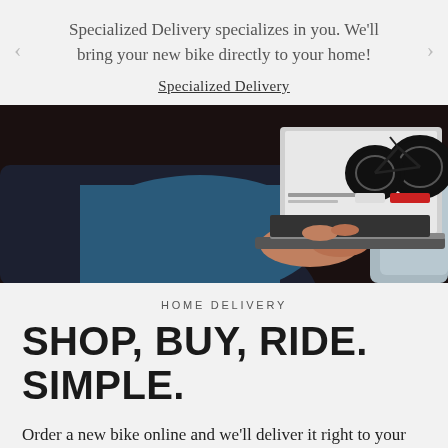Specialized Delivery specializes in you. We’ll bring your new bike directly to your home!
Specialized Delivery
[Figure (photo): Person viewed from behind using a laptop showing a bicycle product page on screen, sitting on a couch]
HOME DELIVERY
SHOP, BUY, RIDE. SIMPLE.
Order a new bike online and we’ll deliver it right to your home or select pick up in-store to get it delivered to your